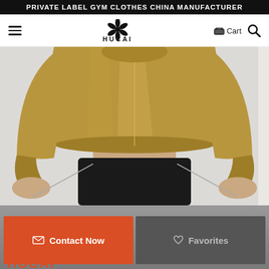PRIVATE LABEL GYM CLOTHES CHINA MANUFACTURER
[Figure (logo): HUCAI brand logo with snowflake/flower star icon above the text HUCAI]
[Figure (photo): Woman wearing a shiny golden/bronze cropped bomber jacket with black leggings, pulling the zipper open, shown from neck to thighs on a light grey background]
Contact Now
Favorites